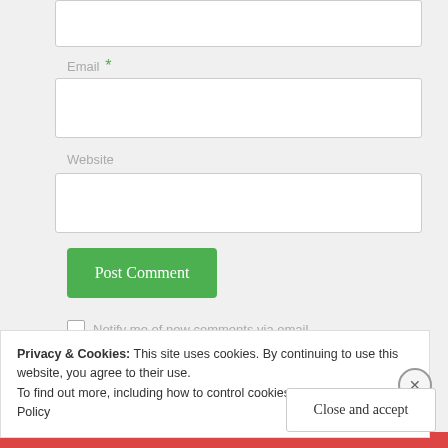Email *
[Figure (screenshot): Email input field (empty text box)]
Website
[Figure (screenshot): Website input field (empty text box)]
Post Comment
Notify me of new comments via email.
Privacy & Cookies: This site uses cookies. By continuing to use this website, you agree to their use.
To find out more, including how to control cookies, see here: Cookie Policy
Close and accept